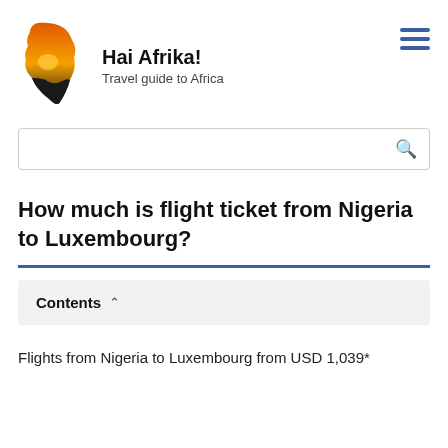Hai Afrika! Travel guide to Africa
[Figure (logo): Africa continent silhouette logo with orange/sunset colors and dark base]
How much is flight ticket from Nigeria to Luxembourg?
Contents
Flights from Nigeria to Luxembourg from USD 1,039*